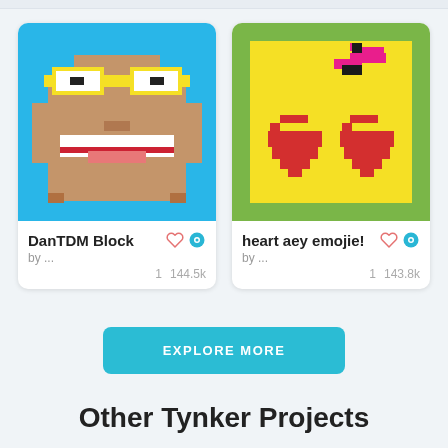[Figure (illustration): Pixel art card for DanTDM Block — blue background, pixelated character face with yellow glasses, buck teeth, on a white card]
DanTDM Block
by ...
1  144.5k
[Figure (illustration): Pixel art card for heart aey emojie — green background, yellow square with red pixel hearts and pink lightning bolt]
heart aey emojie!
by ...
1  143.8k
EXPLORE MORE
Other Tynker Projects